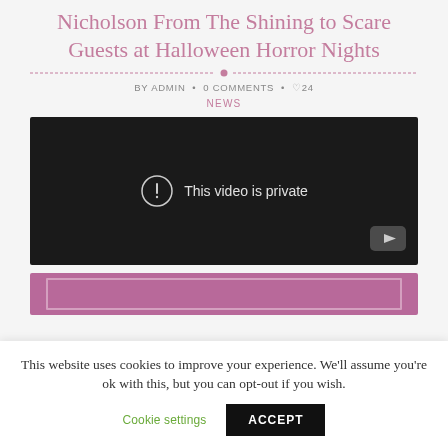Nicholson From The Shining to Scare Guests at Halloween Horror Nights
BY ADMIN • 0 COMMENTS • ♡24
NEWS
[Figure (screenshot): Embedded video player showing 'This video is private' message with YouTube logo on dark background]
[Figure (other): Pink/mauve banner with inner border rectangle]
This website uses cookies to improve your experience. We'll assume you're ok with this, but you can opt-out if you wish.
Cookie settings   ACCEPT